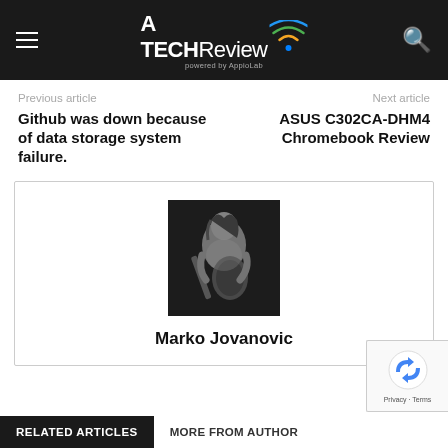A TECHReview powered by AppioLab
Previous article
Github was down because of data storage system failure.
Next article
ASUS C302CA-DHM4 Chromebook Review
[Figure (photo): Black and white photo of Marko Jovanovic playing electric guitar]
Marko Jovanovic
RELATED ARTICLES   MORE FROM AUTHOR